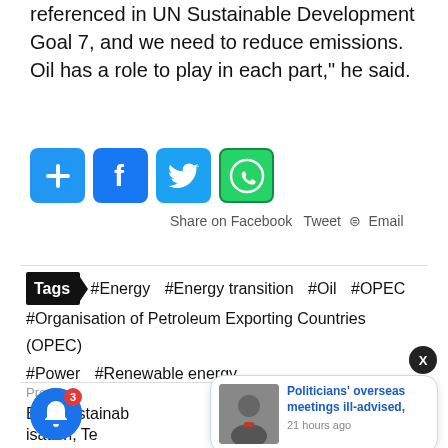referenced in UN Sustainable Development Goal 7, and we need to reduce emissions. Oil has a role to play in each part," he said.
[Figure (infographic): Social sharing buttons: Add (+), Facebook (f), Twitter bird, WhatsApp icon]
Share on Facebook  Tweet  Email
Tags  #Energy  #Energy transition  #Oil  #OPEC  #Organisation of Petroleum Exporting Countries (OPEC)  #Power  #Renewable energy
Previous
Energy sustainability Organisation, Telegram launches premium tier
[Figure (infographic): Popup notification card: Politicians' overseas meetings ill-advised, 21 hours ago]
[Figure (infographic): Notification bell icon with badge showing 3]